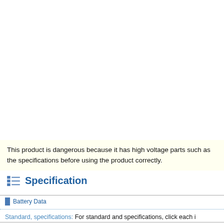This product is dangerous because it has high voltage parts such as the specifications before using the product correctly.
Specification
| Battery Data |
| --- |
Standard, specifications: For standard and specifications, click each i